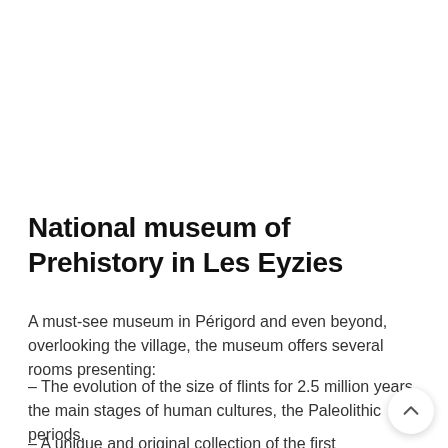National museum of Prehistory in Les Eyzies
A must-see museum in Périgord and even beyond, overlooking the village, the museum offers several rooms presenting:
– The evolution of the size of flints for 2.5 million years, the main stages of human cultures, the Paleolithic periods.
– A unique and original collection of the first human works of art.